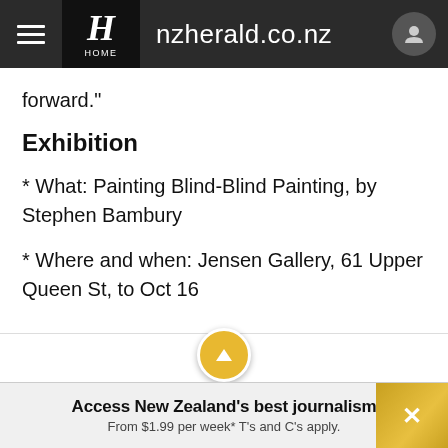nzherald.co.nz
forward."
Exhibition
* What: Painting Blind-Blind Painting, by Stephen Bambury
* Where and when: Jensen Gallery, 61 Upper Queen St, to Oct 16
Access New Zealand's best journalism
From $1.99 per week* T's and C's apply.